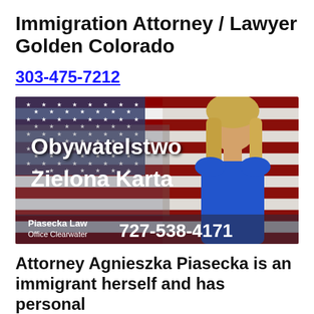Immigration Attorney / Lawyer Golden Colorado
303-475-7212
[Figure (photo): Advertisement banner with American flag background, text 'Obywatelstwo Zielona Karta', photo of a blonde woman in blue dress, and text 'Piasecka Law Office Clearwater 727-538-4171']
Attorney Agnieszka Piasecka is an immigrant herself and has personal